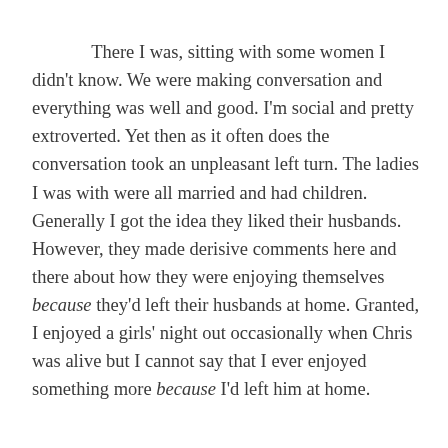There I was, sitting with some women I didn't know. We were making conversation and everything was well and good. I'm social and pretty extroverted. Yet then as it often does the conversation took an unpleasant left turn. The ladies I was with were all married and had children. Generally I got the idea they liked their husbands. However, they made derisive comments here and there about how they were enjoying themselves because they'd left their husbands at home. Granted, I enjoyed a girls' night out occasionally when Chris was alive but I cannot say that I ever enjoyed something more because I'd left him at home.